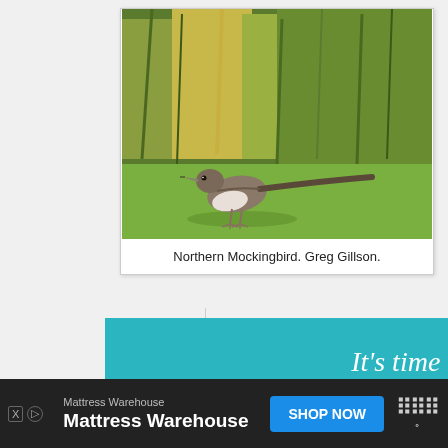[Figure (photo): Photograph of a Northern Mockingbird standing on green grass with tall grass/reeds in the background. The bird has brown-gray upper parts, white underparts, and a long tail. It appears to have something in its beak.]
Northern Mockingbird. Greg Gillson.
[Figure (infographic): Advertisement banner with teal/cyan background. Text reads: It's time to talk about Alzheimer's. With a green 'LEARN MORE' button. Has a close (X) button in the top right corner.]
[Figure (infographic): Bottom browser bar advertisement for Mattress Warehouse with a blue 'SHOP NOW' button, small icons on the right, and X/D ad badges on the left.]